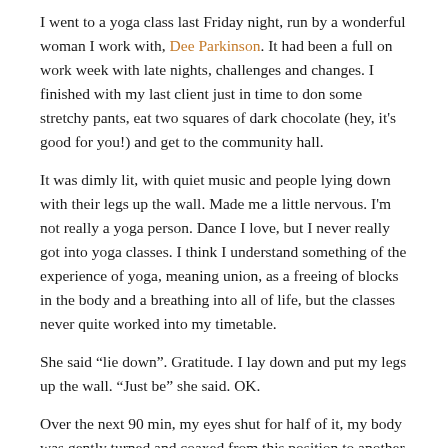I went to a yoga class last Friday night, run by a wonderful woman I work with, Dee Parkinson.  It had been a full on work week with late nights, challenges and changes.  I finished with my last client just in time to don some stretchy pants, eat two squares of dark chocolate (hey, it's good for you!) and get to the community hall.
It was dimly lit, with quiet music and people lying down with their legs up the wall. Made me a little nervous.  I'm not really a yoga person.  Dance I love, but I never really got into yoga classes.  I think I understand something of the experience of yoga, meaning union, as a freeing of blocks in the body and a breathing into all of life, but the classes never quite worked into my timetable.
She said “lie down”.  Gratitude.  I lay down and put my legs up the wall.  “Just be” she said.  OK.
Over the next 90 min, my eyes shut for half of it, my body was gently turned and coaxed from this position to another with so much time to sink way past the stretch and wobble into a deep letting go.  What did she say?  Like merging into water.  Once I felt gentle, beautiful tears behind my eyes.  At other times it